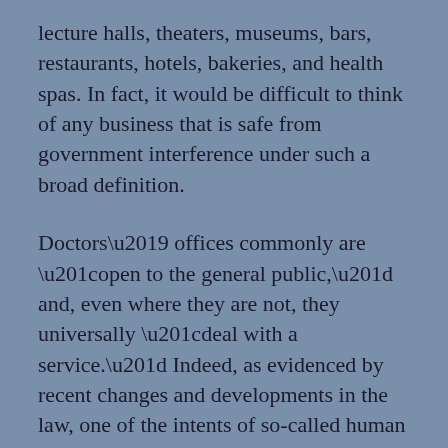lecture halls, theaters, museums, bars, restaurants, hotels, bakeries, and health spas. In fact, it would be difficult to think of any business that is safe from government interference under such a broad definition.
Doctors' offices commonly are “open to the general public,” and, even where they are not, they universally “deal with a service.” Indeed, as evidenced by recent changes and developments in the law, one of the intents of so-called human rights laws is to place entities like doctors' offices under government control, but this intent was just never tested until some doctors chose not to treat the HIV-infected. Maintaining that medical and dental offices did